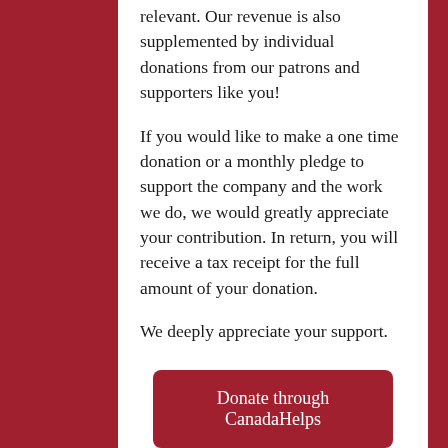relevant. Our revenue is also supplemented by individual donations from our patrons and supporters like you!

If you would like to make a one time donation or a monthly pledge to support the company and the work we do, we would greatly appreciate your contribution. In return, you will receive a tax receipt for the full amount of your donation.

We deeply appreciate your support.
Donate through CanadaHelps